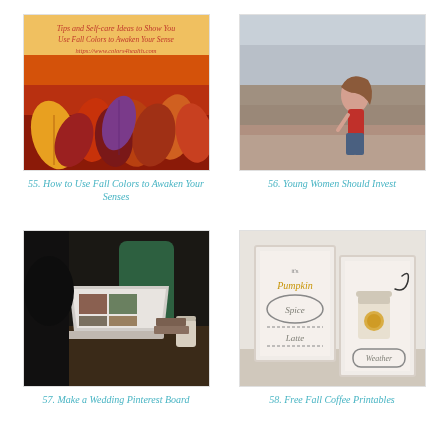[Figure (photo): Image of colorful fall leaves with text overlay: Tips and Self-care Ideas to Show You Use Fall Colors to Awaken Your Sense https://www.colors4health.com]
55. How to Use Fall Colors to Awaken Your Senses
[Figure (photo): Young woman in red top sitting on rocky cliff overlooking a city landscape]
56. Young Women Should Invest
[Figure (photo): Person using a laptop at a coffee shop desk with a cup of coffee, green chair in background]
57. Make a Wedding Pinterest Board
[Figure (photo): Two framed printable signs reading It's Pumpkin Spice Latte Weather with a coffee cup illustration]
58. Free Fall Coffee Printables